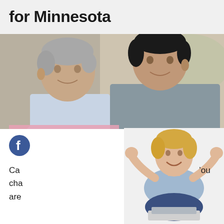for Minnesota
[Figure (photo): Two smiling men, an older man with grey hair on the left and a younger man on the right, posed together indoors]
[Figure (logo): Facebook logo icon, circular blue background with white letter f]
[Figure (photo): A middle-aged woman with short blonde hair sitting cross-legged, arms raised in celebration, with a laptop in front of her]
Ca
cha
'ou
are